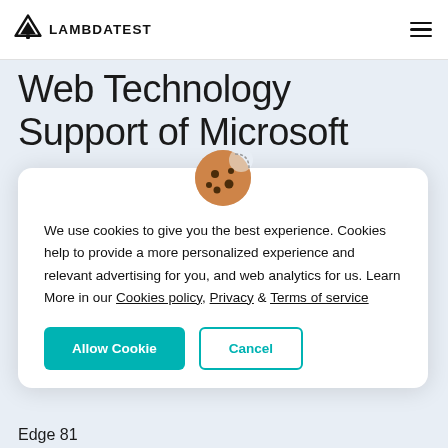LAMBDATEST
Web Technology Support of Microsoft
[Figure (illustration): Cookie emoji icon — round brown cookie with chocolate chip spots and a bite taken out]
We use cookies to give you the best experience. Cookies help to provide a more personalized experience and relevant advertising for you, and web analytics for us. Learn More in our Cookies policy, Privacy & Terms of service
Allow Cookie   Cancel
Edge 81